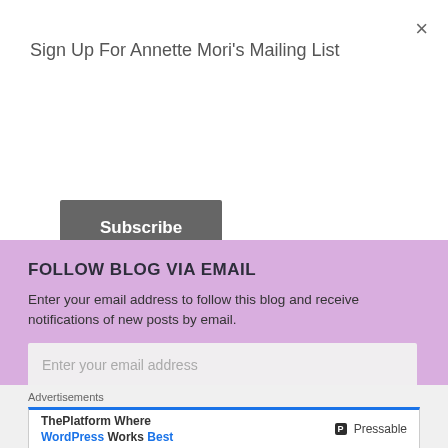Sign Up For Annette Mori's Mailing List
×
[Figure (other): Subscribe button - dark grey rounded rectangle with white bold text 'Subscribe']
FOLLOW BLOG VIA EMAIL
Enter your email address to follow this blog and receive notifications of new posts by email.
[Figure (other): Email input field with placeholder text 'Enter your email address']
[Figure (other): FOLLOW button - green rounded pill shape with dark bold text 'FOLLOW']
[Figure (other): Close circle button (X in circle) at bottom right]
Advertisements
[Figure (other): Advertisement banner: 'ThePlatform Where WordPress Works Best' with Pressable logo]